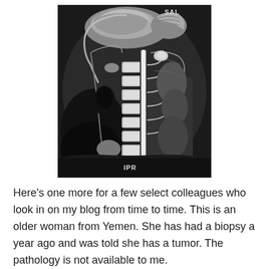[Figure (photo): Sagittal MRI scan of the cervical spine showing vertebral column and surrounding soft tissue structures. The image is grayscale. Labels 'SAL' appear in the top right corner and 'IPR' appear at the bottom center of the image.]
Here's one more for a few select colleagues who look in on my blog from time to time. This is an older woman from Yemen. She has had a biopsy a year ago and was told she has a tumor. The pathology is not available to me.